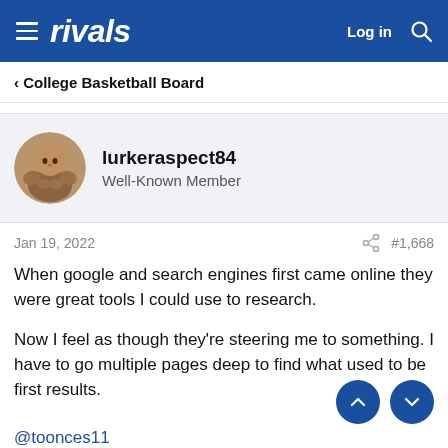rivals — Log in
< College Basketball Board
lurkeraspect84
Well-Known Member
Jan 19, 2022   #1,668
When google and search engines first came online they were great tools I could use to research.

Now I feel as though they're steering me to something. I have to go multiple pages deep to find what used to be first results.
@toonces11